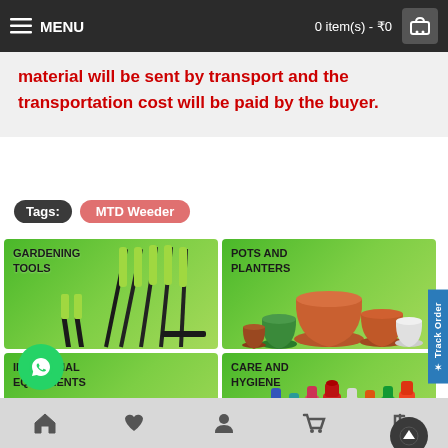MENU   0 item(s) - ₹0
material will be sent by transport and the transportation cost will be paid by the buyer.
Tags: MTD Weeder
[Figure (photo): Gardening Tools category banner with green background and garden tool images]
[Figure (photo): Pots And Planters category banner with green background and various plastic pots]
[Figure (photo): Industrial Equipments category banner with green background and industrial equipment images]
[Figure (photo): Care And Hygiene category banner with green background and hygiene product bottles]
Home | Wishlist | Account | Cart | Login